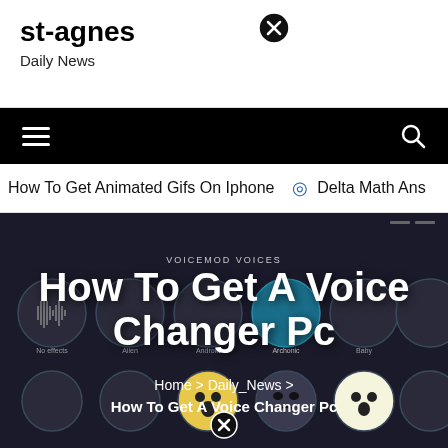st-agnes
Daily News
[Figure (screenshot): Navigation bar with hamburger menu icon on left and search icon on right, black background]
How To Get Animated Gifs On Iphone   ⊙ Delta Math Ans
How To Get A Voice Changer Pc
Home > Daily_News > How To Get A Voice Changer Pc